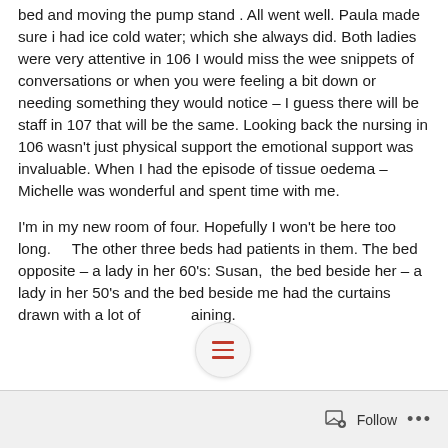bed and moving the pump stand .  All went well.  Paula made sure i had ice cold water; which she always did.  Both ladies were very attentive in 106 I would miss the wee snippets of conversations or when you were feeling a bit down or needing something they would notice – I guess there will be staff in 107 that will be the same.  Looking back the nursing in 106 wasn't just physical support the emotional support was invaluable.  When I had the episode of tissue oedema – Michelle was wonderful and spent time with me.
I'm in my new room of four.  Hopefully I won't be here too long.     The other three beds had patients in them.  The bed opposite – a lady in her 60's: Susan,  the bed beside her – a lady in her 50's and the bed beside me had the curtains drawn with a lot of aining.
Follow ···